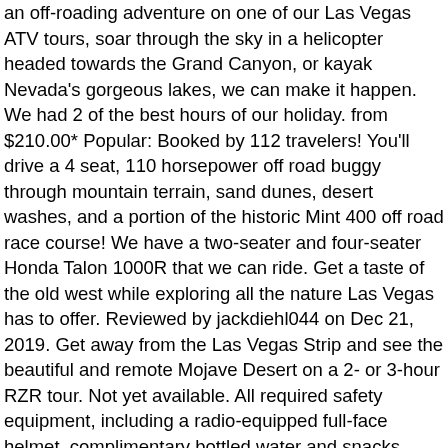an off-roading adventure on one of our Las Vegas ATV tours, soar through the sky in a helicopter headed towards the Grand Canyon, or kayak Nevada's gorgeous lakes, we can make it happen. We had 2 of the best hours of our holiday. from $210.00* Popular: Booked by 112 travelers! You'll drive a 4 seat, 110 horsepower off road buggy through mountain terrain, sand dunes, desert washes, and a portion of the historic Mint 400 off road race course! We have a two-seater and four-seater Honda Talon 1000R that we can ride. Get a taste of the old west while exploring all the nature Las Vegas has to offer. Reviewed by jackdiehl044 on Dec 21, 2019. Get away from the Las Vegas Strip and see the beautiful and remote Mojave Desert on a 2- or 3-hour RZR tour. Not yet available. All required safety equipment, including a radio-equipped full-face helmet, complimentary bottled water and snacks during the tour, professional off-road tour guides and transportation are included. Not yet available. Free pickup. These small group tours utilize top of the line air-cooled helmets for your safety and comfort, and feature courses designed by professional off road ... Ride through the Mojave Desert on a guided tour riding/driving your own ATV/RZR Dirt bike off road tours from Las Vegas NV. Families, couples and adventure groups enjoy RZR side-by-side rentals and guided tours year-round on amazing Southwest desert trails. Kevin and Ryan had great offroad racing...